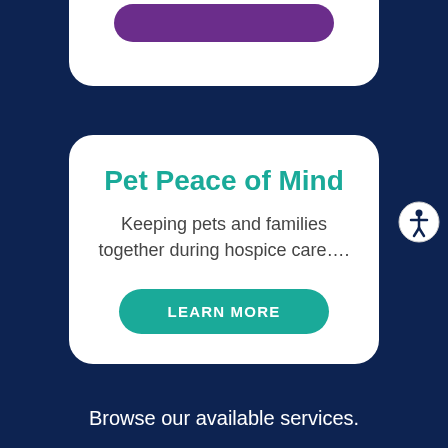[Figure (other): White rounded card partially visible at top with a purple pill-shaped button]
Pet Peace of Mind
Keeping pets and families together during hospice care….
LEARN MORE
[Figure (illustration): Accessibility icon: circle with person figure inside, on white background]
Browse our available services.